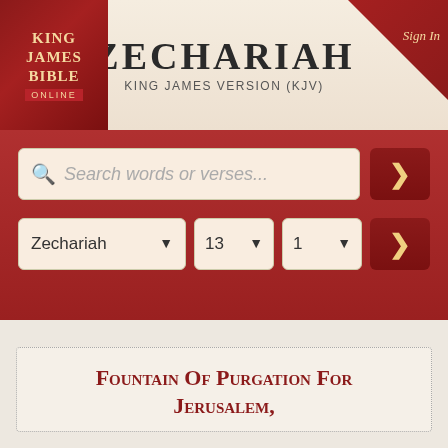[Figure (logo): King James Bible Online logo in dark red with gold text]
Zechariah
King James Version (KJV)
[Figure (screenshot): Sign In button as red triangle banner in top right corner]
[Figure (screenshot): Search bar with placeholder text 'Search words or verses...' and go button]
[Figure (screenshot): Book/chapter/verse dropdown selectors: Zechariah, 13, 1 with go button]
Fountain Of Purgation For Jerusalem,